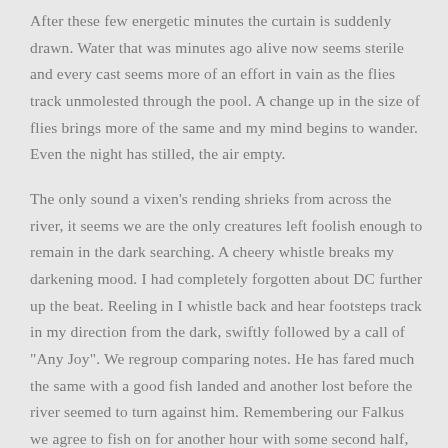After these few energetic minutes the curtain is suddenly drawn. Water that was minutes ago alive now seems sterile and every cast seems more of an effort in vain as the flies track unmolested through the pool. A change up in the size of flies brings more of the same and my mind begins to wander. Even the night has stilled, the air empty.
The only sound a vixen's rending shrieks from across the river, it seems we are the only creatures left foolish enough to remain in the dark searching. A cheery whistle breaks my darkening mood. I had completely forgotten about DC further up the beat. Reeling in I whistle back and hear footsteps track in my direction from the dark, swiftly followed by a call of "Any Joy". We regroup comparing notes. He has fared much the same with a good fish landed and another lost before the river seemed to turn against him. Remembering our Falkus we agree to fish on for another hour with some second half, deep and slow tactics.